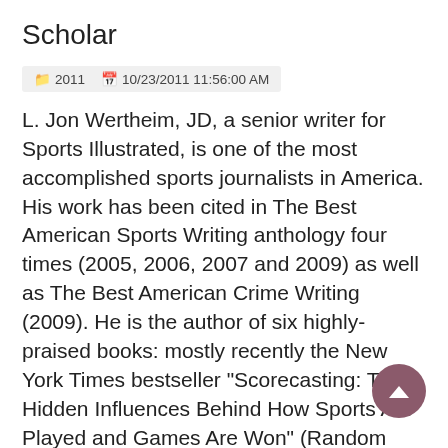Scholar
2011   10/23/2011 11:56:00 AM
L. Jon Wertheim, JD, a senior writer for Sports Illustrated, is one of the most accomplished sports journalists in America. His work has been cited in The Best American Sports Writing anthology four times (2005, 2006, 2007 and 2009) as well as The Best American Crime Writing (2009). He is the author of six highly-praised books: mostly recently the New York Times bestseller "Scorecasting: The Hidden Influences Behind How Sports Are Played and Games Are Won" (Random House 2011) written w...